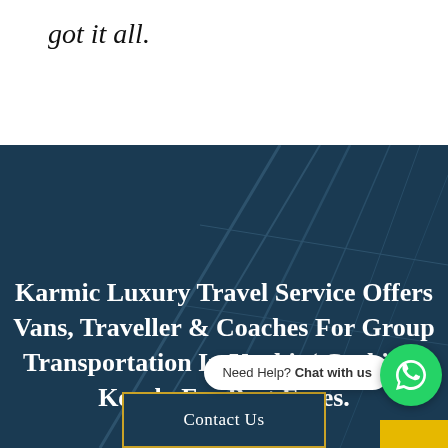got it all.
[Figure (photo): Dark blue background with architectural lines/structure visible, serving as background for the bottom section]
Karmic Luxury Travel Service Offers Vans, Traveller & Coaches For Group Transportation In Kochi, ( Cochin ), Kerala For Best Fares.
Need Help? Chat with us
Contact Us